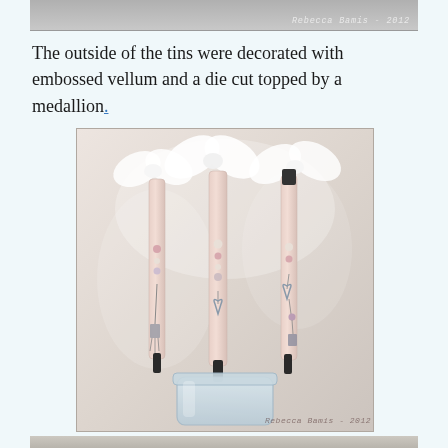[Figure (photo): Partial top strip showing a previous image, with a watermark reading 'Rebecca Bamis - 2012' in the bottom right of the strip, grey/silver toned background.]
The outside of the tins were decorated with embossed vellum and a die cut topped by a medallion.
[Figure (photo): Photo of several pink decorative pens adorned with white ribbon bows at the top and hanging charms (including awareness ribbon charms and beads) displayed in a small glass jar. Watermark reads 'Rebecca Bamis - 2012' in the bottom right corner.]
[Figure (photo): Partial bottom strip of another image, cut off at bottom of page.]